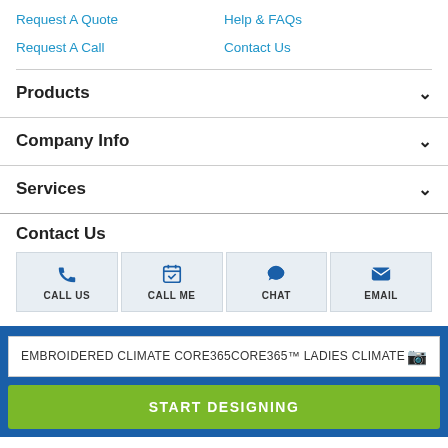Request A Quote
Help & FAQs
Request A Call
Contact Us
Products
Company Info
Services
Contact Us
[Figure (infographic): Four contact buttons: Call Us (phone icon), Call Me (calendar icon), Chat (speech bubble icon), Email (envelope icon)]
EMBROIDERED CLIMATE CORE365CORE365™ LADIES CLIMATE
START DESIGNING